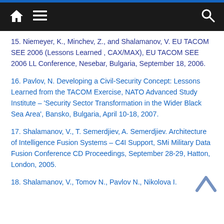Navigation bar with home, menu, and search icons
15. Niemeyer, K., Minchev, Z., and Shalamanov, V. EU TACOM SEE 2006 (Lessons Learned , CAX/MAX), EU TACOM SEE 2006 LL Conference, Nesebar, Bulgaria, September 18, 2006.
16. Pavlov, N. Developing a Civil-Security Concept: Lessons Learned from the TACOM Exercise, NATO Advanced Study Institute – 'Security Sector Transformation in the Wider Black Sea Area', Bansko, Bulgaria, April 10-18, 2007.
17. Shalamanov, V., T. Semerdjiev, A. Semerdjiev. Architecture of Intelligence Fusion Systems – C4I Support, SMi Military Data Fusion Conference CD Proceedings, September 28-29, Hatton, London, 2005.
18. Shalamanov, V., Tomov N., Pavlov N., Nikolova I.